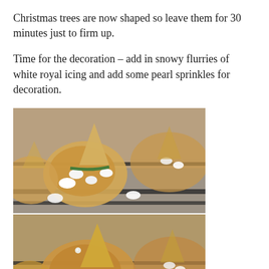Christmas trees are now shaped so leave them for 30 minutes just to firm up.
Time for the decoration – add in snowy flurries of white royal icing and add some pearl sprinkles for decoration.
[Figure (photo): Close-up photo of Christmas tree shaped cookies decorated with white royal icing and green piping on baking trays]
[Figure (photo): Close-up photo of Christmas tree shaped cookies with white royal icing, green piping, and a red pearl sprinkle on baking trays]